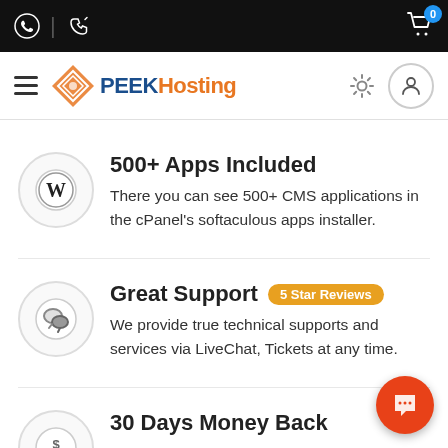PEEK Hosting — navigation header with cart (0), hamburger menu, gear icon, user icon
500+ Apps Included
There you can see 500+ CMS applications in the cPanel's softaculous apps installer.
Great Support  5 Star Reviews
We provide true technical supports and services via LiveChat, Tickets at any time.
30 Days Money Back
Not Satisfied? Within 30 days you will get a full...